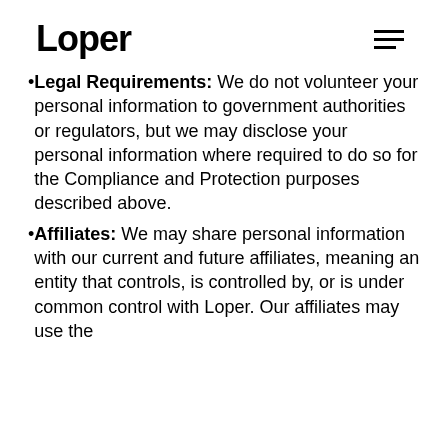Loper
Legal Requirements: We do not volunteer your personal information to government authorities or regulators, but we may disclose your personal information where required to do so for the Compliance and Protection purposes described above.
Affiliates: We may share personal information with our current and future affiliates, meaning an entity that controls, is controlled by, or is under common control with Loper. Our affiliates may use the